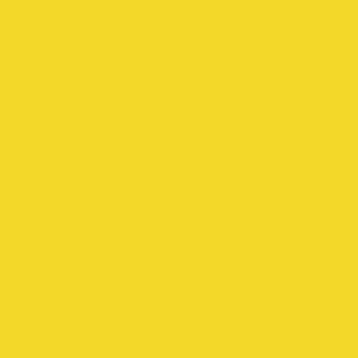[Figure (other): Solid yellow background fill covering the entire page, color approximately #F2D829.]